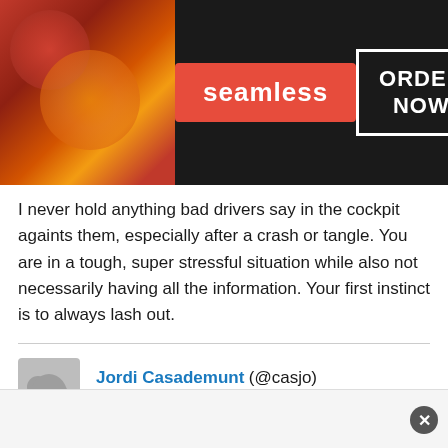[Figure (screenshot): Seamless food delivery advertisement banner with pizza image on left, Seamless logo in red badge center, and ORDER NOW button in white outlined box on right, dark background.]
I never hold anything bad drivers say in the cockpit againts them, especially after a crash or tangle. You are in a tough, super stressful situation while also not necessarily having all the information. Your first instinct is to always lash out.
Jordi Casademunt (@casjo)
23rd May 2022, 17:54
Hamilton seems to understeer slightly, judging by his onboard camera he's maybe 20-30cm off. Considering he had medium tyres, it's not exactly unexpected